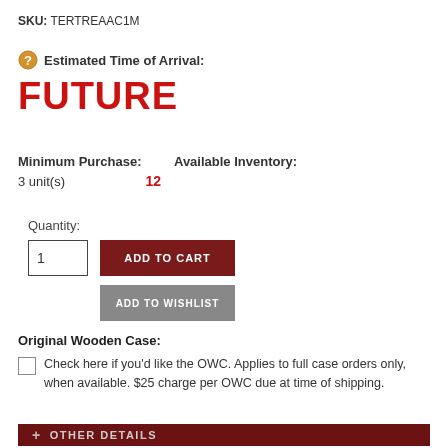SKU: TERTREAAC1M
Estimated Time of Arrival:
FUTURE
Minimum Purchase: 3 unit(s)  Available Inventory: 12
Quantity:
ADD TO CART
ADD TO WISHLIST
Original Wooden Case:
Check here if you'd like the OWC. Applies to full case orders only, when available. $25 charge per OWC due at time of shipping.
+ OTHER DETAILS